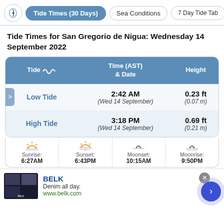Tide Times (30 Days) | Sea Conditions | 7 Day Tide Tab
Tide Times for San Gregorio de Nigua: Wednesday 14 September 2022
| Tide | Time (AST) & Date | Height |
| --- | --- | --- |
| Low Tide | 2:42 AM
(Wed 14 September) | 0.23 ft
(0.07 m) |
| High Tide | 3:18 PM
(Wed 14 September) | 0.69 ft
(0.21 m) |
Sunrise: 6:27AM | Sunset: 6:43PM | Moonset: 10:15AM | Moonrise: 9:50PM